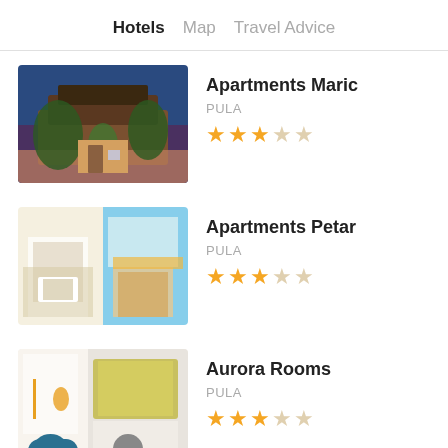Hotels  Map  Travel Advice
Apartments Maric
PULA
★★★☆☆
Apartments Petar
PULA
★★★☆☆
Aurora Rooms
PULA
★★★☆☆